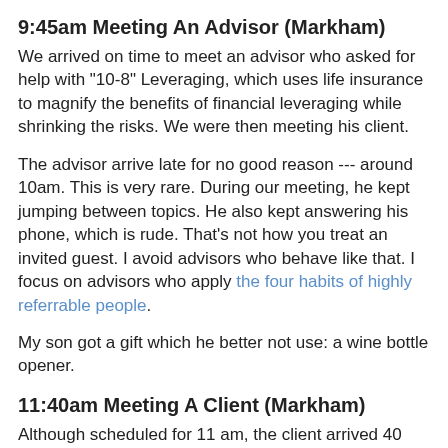9:45am Meeting An Advisor (Markham)
We arrived on time to meet an advisor who asked for help with "10-8" Leveraging, which uses life insurance to magnify the benefits of financial leveraging while shrinking the risks. We were then meeting his client.
The advisor arrive late for no good reason --- around 10am. This is very rare. During our meeting, he kept jumping between topics. He also kept answering his phone, which is rude. That's not how you treat an invited guest. I avoid advisors who behave like that. I focus on advisors who apply the four habits of highly referrable people.
My son got a gift which he better not use: a wine bottle opener.
11:40am Meeting A Client (Markham)
Although scheduled for 11 am, the client arrived 40 minutes late He brought his accountant. As discussions began, the client kept checking messages on his Blackberry. However, he became more engaged within a few minutes. Both he and